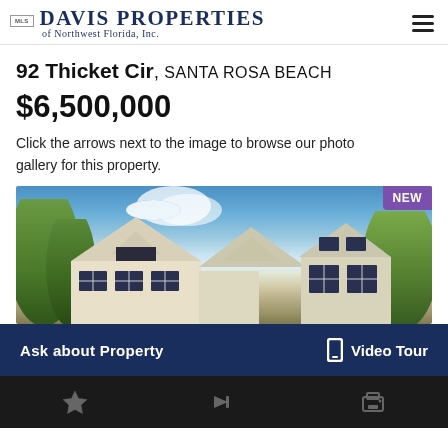DAVIS PROPERTIES of Northwest Florida, Inc.
92 Thicket Cir, SANTA ROSA BEACH
$6,500,000
Click the arrows next to the image to browse our photo gallery for this property.
[Figure (photo): Exterior photo of a large upscale home with white/tan siding, dark-framed windows, surrounded by trees under a blue sky. NEW badge in upper right corner.]
Ask about Property   Video Tour
★  ➤  🖨